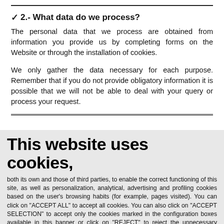2.- What data do we process?
The personal data that we process are obtained from information you provide us by completing forms on the Website or through the installation of cookies.
We only gather the data necessary for each purpose. Remember that if you do not provide obligatory information it is possible that we will not be able to deal with your query or process your request.
This website uses cookies,
both its own and those of third parties, to enable the correct functioning of this site, as well as personalization, analytical, advertising and profiling cookies based on the user's browsing habits (for example, pages visited). You can click on "ACCEPT ALL" to accept all cookies. You can also click on "ACCEPT SELECTION" to accept only the cookies marked in the configuration boxes available in this banner or click on "REJECT" to reject the unnecessary cookies. Additional information in our Cookie Policy.